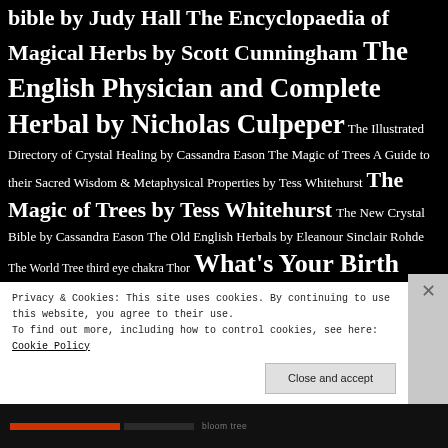bible by Judy Hall The Encyclopaedia of Magical Herbs by Scott Cunningham The English Physician and Complete Herbal by Nicholas Culpeper The Illustrated Directory of Crystal Healing by Cassandra Eason The Magic of Trees A Guide to their Sacred Wisdom & Metaphysical Properties by Tess Whitehurst The Magic of Trees by Tess Whitehurst The New Crystal Bible by Cassandra Eason The Old English Herbals by Eleanour Sinclair Rohde The World Tree third eye chakra Thor What's Your Birth Tree is the New What's Your Star Sign Whispers from the woods by sandra kyne
Privacy & Cookies: This site uses cookies. By continuing to use this website, you agree to their use.
To find out more, including how to control cookies, see here: Cookie Policy
Close and accept